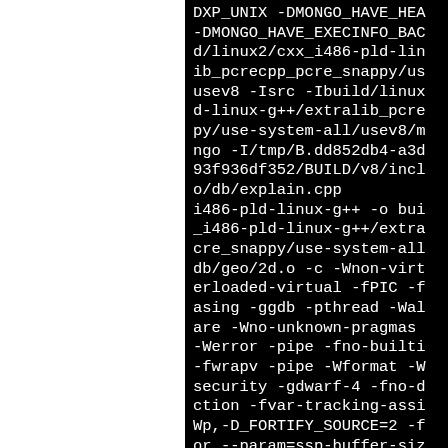DXP_UNIX -DMONGO_HAVE_HEAD -DMONGO_HAVE_EXECINFO_BACK d/linux2/cxx_i486-pld-linu ib_pcrecpp_pcre_snappy/use usev8 -Isrc -Ibuild/linux2 d-linux-g++/extralib_pcre py/use-system-all/usev8/mo ngo -I/tmp/B.dd852db4-a3d1 93f936df352/BUILD/v8/inclu o/db/explain.cpp i486-pld-linux-g++ -o bui _i486-pld-linux-g++/extra cre_snappy/use-system-all/ db/geo/2d.o -c -Wnon-virtu erloaded-virtual -fPIC -fr asing -ggdb -pthread -Wall are -Wno-unknown-pragmas - -Werror -pipe -fno-builtin -fwrapv -pipe -Wformat -We security -gdwarf-4 -fno-de ction -fvar-tracking-assig Wp,-D_FORTIFY_SOURCE=2 -fs or --param=ssp-buffer-size ame-pointer -march=i486 -